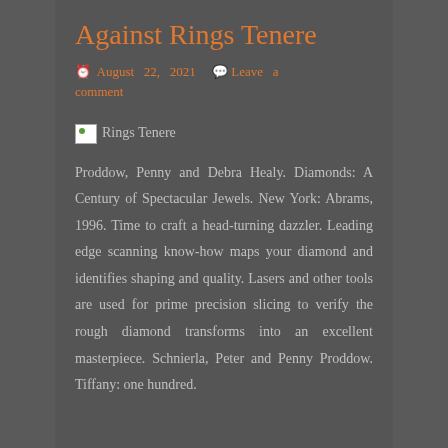Against Rings Tenere
August 22, 2021   Leave a comment
[Figure (photo): Broken image placeholder labeled 'Rings Tenere']
Proddow, Penny and Debra Healy. Diamonds: A Century of Spectacular Jewels. New York: Abrams, 1996. Time to craft a head-turning dazzler. Leading edge scanning know-how maps your diamond and identifies shaping and quality. Lasers and other tools are used for prime precision slicing to verify the rough diamond transforms into an excellent masterpiece. Schnierla, Peter and Penny Proddow. Tiffany: one hundred.